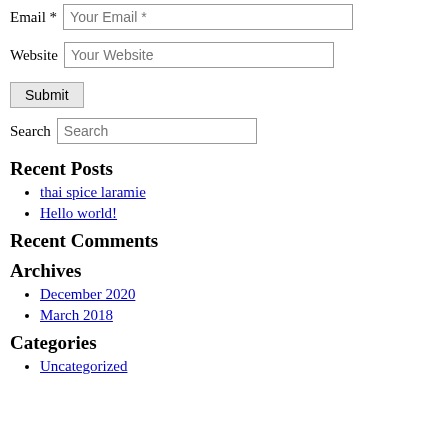Email * [Your Email *]
Website [Your Website]
Submit
Search [Search]
Recent Posts
thai spice laramie
Hello world!
Recent Comments
Archives
December 2020
March 2018
Categories
Uncategorized